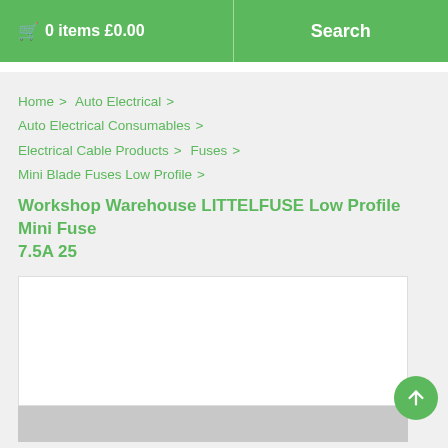🛒 0 items £0.00 | Search
Home > Auto Electrical > Auto Electrical Consumables > Electrical Cable Products > Fuses > Mini Blade Fuses Low Profile >
Workshop Warehouse LITTELFUSE Low Profile Mini Fuse 7.5A 25
[Figure (photo): Product image placeholder - white box with grey area at bottom]